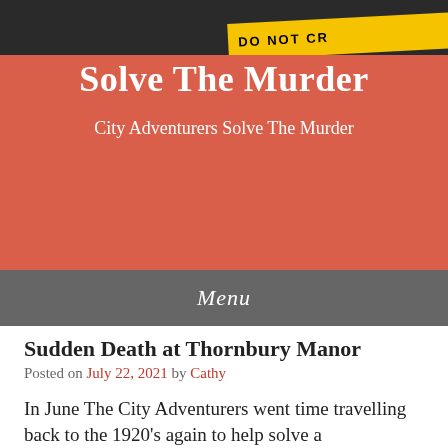Solve The Murder
City Adventurers Solve The Murder
Menu
Sudden Death at Thornbury Manor
Posted on July 22, 2021 by Cathy
In June The City Adventurers went time travelling back to the 1920's again to help solve a